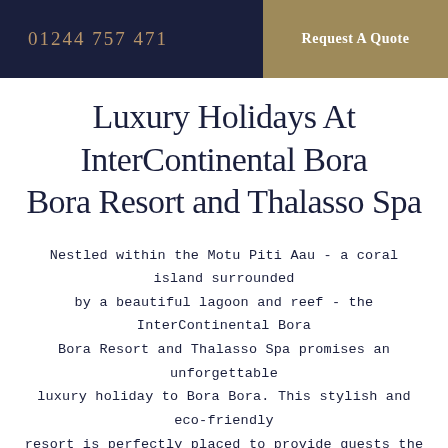01244 757 471 | Request A Quote
Luxury Holidays At InterContinental Bora Bora Resort and Thalasso Spa
Nestled within the Motu Piti Aau - a coral island surrounded by a beautiful lagoon and reef - the InterContinental Bora Bora Resort and Thalasso Spa promises an unforgettable luxury holiday to Bora Bora. This stylish and eco-friendly resort is perfectly placed to provide guests the best of the inspiring island; think spectacular views, luxury overwater villas and lush tropical gardens. Enjoy delicious meals and drinks from the six onsite restaurants and bars, serving a multitude of cuisines and unique entertainment evenings, or